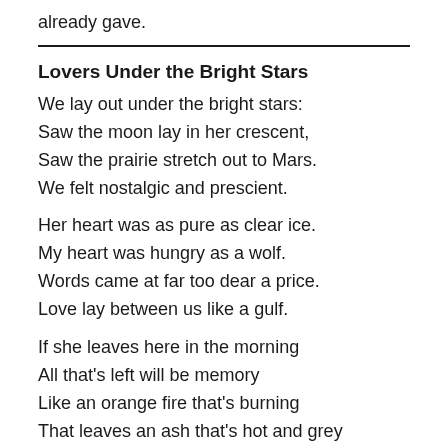already gave.
Lovers Under the Bright Stars
We lay out under the bright stars:
Saw the moon lay in her crescent,
Saw the prairie stretch out to Mars.
We felt nostalgic and prescient.
Her heart was as pure as clear ice.
My heart was hungry as a wolf.
Words came at far too dear a price.
Love lay between us like a gulf.
If she leaves here in the morning
All that's left will be memory
Like an orange fire that's burning
That leaves an ash that's hot and grey